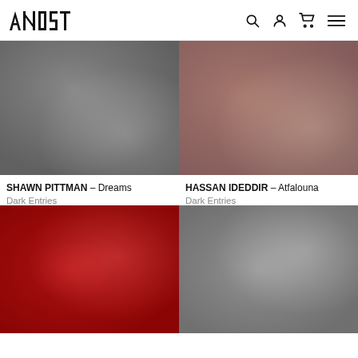ANOST [logo with navigation icons: search, account, cart, menu]
[Figure (photo): Abstract blurred grayscale album artwork for Shawn Pittman - Dreams]
SHAWN PITTMAN – Dreams
Dark Entries
[Figure (photo): Abstract blurred brownish-gray album artwork for Hassan Ideddir - Atfalouna]
HASSAN IDEDDIR – Atfalouna
Dark Entries
[Figure (photo): Abstract blurred red album artwork (partially visible at bottom)]
[Figure (photo): Abstract blurred gray album artwork (partially visible at bottom)]